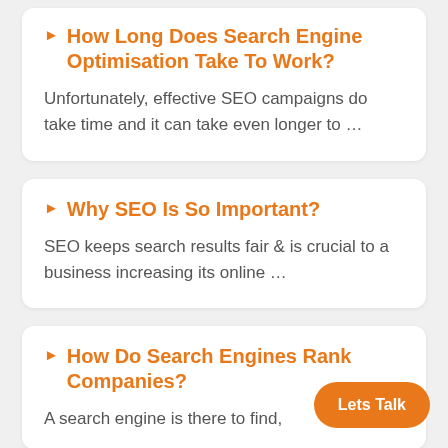How Long Does Search Engine Optimisation Take To Work?
Unfortunately, effective SEO campaigns do take time and it can take even longer to …
Why SEO Is So Important?
SEO keeps search results fair & is crucial to a business increasing its online …
How Do Search Engines Rank Companies?
A search engine is there to find,